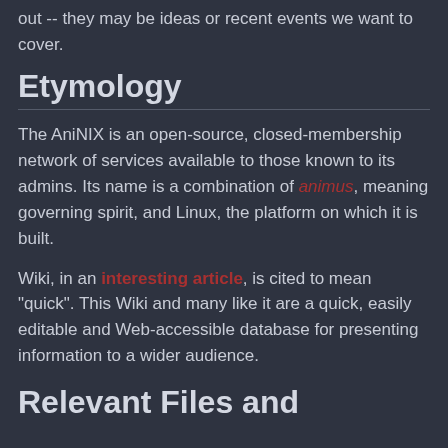out -- they may be ideas or recent events we want to cover.
Etymology
The AniNIX is an open-source, closed-membership network of services available to those known to its admins. Its name is a combination of animus, meaning governing spirit, and Linux, the platform on which it is built.
Wiki, in an interesting article, is cited to mean "quick". This Wiki and many like it are a quick, easily editable and Web-accessible database for presenting information to a wider audience.
Relevant Files and